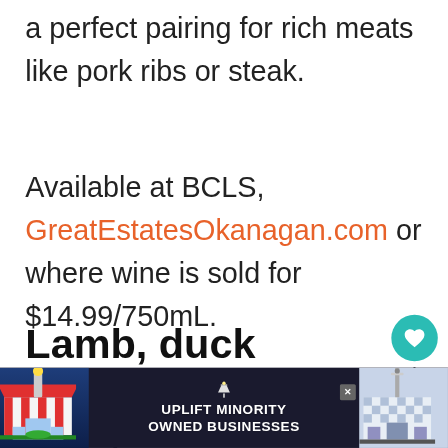a perfect pairing for rich meats like pork ribs or steak.
Available at BCLS, GreatEstatesOkanagan.com or where wine is sold for $14.99/750mL.
Lamb, duck breast or gamey meats
[Figure (infographic): Advertisement banner: UPLIFT MINORITY OWNED BUSINESSES with illustrated storefront graphics on left and right, close button, and dark navy background.]